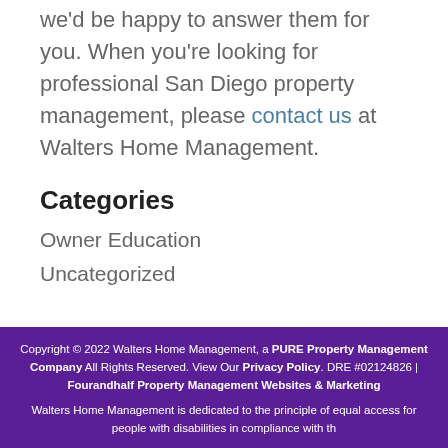we'd be happy to answer them for you. When you're looking for professional San Diego property management, please contact us at Walters Home Management.
Categories
Owner Education
Uncategorized
Copyright © 2022 Walters Home Management, a PURE Property Management Company All Rights Reserved. View Our Privacy Policy. DRE #02124826 | Fourandhalf Property Management Websites & Marketing

Walters Home Management is dedicated to the principle of equal access for people with disabilities in compliance with th...